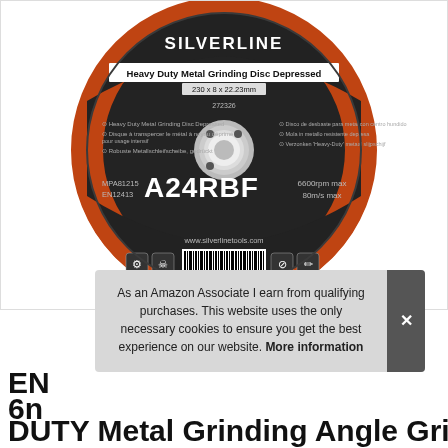[Figure (photo): Silverline Heavy Duty Metal Grinding Disc Depressed product photo. Dark circular grinding disc with orange stripe, labeled A24RBF, 230x8x22.23mm, MPA81215, EN12413, 6600rpm max, 80m/s max. Barcode and safety symbols visible at bottom.]
As an Amazon Associate I earn from qualifying purchases. This website uses the only necessary cookies to ensure you get the best experience on our website. More information
EN... 6n... DUTY Metal Grinding Angle Grinder